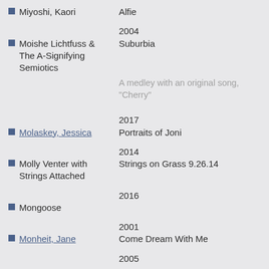Miyoshi, Kaori — Alfie
2004
Moishe Lichtfuss & The A-Signifying Semiotics — Suburbia
A medley with an original song, "Cherry"
2017
Molaskey, Jessica — Portraits of Joni
2014
Molly Venter with Strings Attached — Strings on Grass 9.26.14
2016
Mongoose
2001
Monheit, Jane — Come Dream With Me
2005